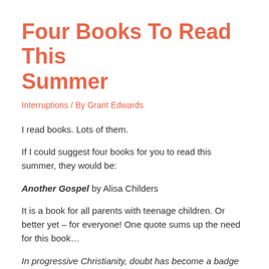Four Books To Read This Summer
Interruptions / By Grant Edwards
I read books. Lots of them.
If I could suggest four books for you to read this summer, they would be:
Another Gospel by Alisa Childers
It is a book for all parents with teenage children. Or better yet – for everyone! One quote sums up the need for this book…
In progressive Christianity, doubt has become a badge of honor to bask in, rather than an obstacle to face and overcome.